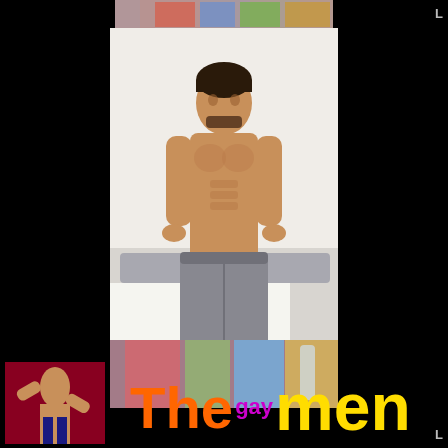[Figure (photo): A shirtless muscular young man standing in a bedroom wearing grey sweatpants, looking at the camera. Behind him is a bed with white sheets and a grey headboard. The image is a vertical video frame screenshot with colorful blurred background visible at top and bottom edges. Text overlay at bottom reads 'The gay men' in orange, purple, and yellow colors. A small thumbnail of another muscular person is visible in the bottom-left corner.]